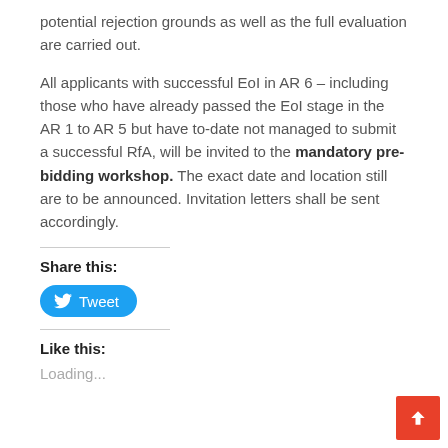potential rejection grounds as well as the full evaluation are carried out.
All applicants with successful EoI in AR 6 – including those who have already passed the EoI stage in the AR 1 to AR 5 but have to-date not managed to submit a successful RfA, will be invited to the mandatory pre-bidding workshop. The exact date and location still are to be announced. Invitation letters shall be sent accordingly.
Share this:
[Figure (other): Blue Tweet button with Twitter bird icon]
Like this:
Loading...